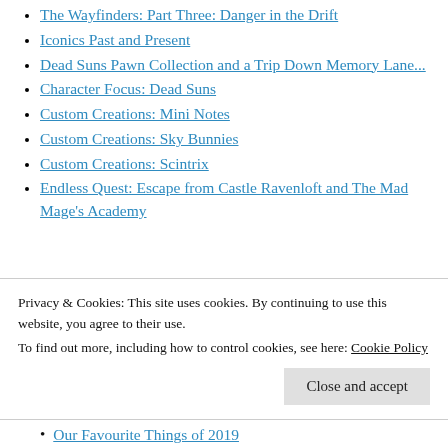The Wayfinders: Part Three: Danger in the Drift
Iconics Past and Present
Dead Suns Pawn Collection and a Trip Down Memory Lane...
Character Focus: Dead Suns
Custom Creations: Mini Notes
Custom Creations: Sky Bunnies
Custom Creations: Scintrix
Endless Quest: Escape from Castle Ravenloft and The Mad Mage's Academy
Privacy & Cookies: This site uses cookies. By continuing to use this website, you agree to their use.
To find out more, including how to control cookies, see here: Cookie Policy
Our Favourite Things of 2019